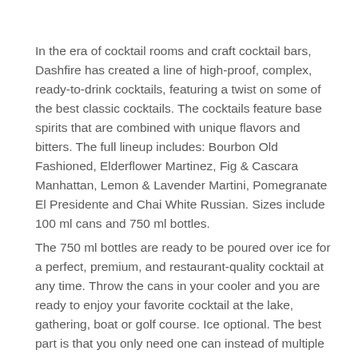In the era of cocktail rooms and craft cocktail bars, Dashfire has created a line of high-proof, complex, ready-to-drink cocktails, featuring a twist on some of the best classic cocktails. The cocktails feature base spirits that are combined with unique flavors and bitters. The full lineup includes: Bourbon Old Fashioned, Elderflower Martinez, Fig & Cascara Manhattan, Lemon & Lavender Martini, Pomegranate El Presidente and Chai White Russian. Sizes include 100 ml cans and 750 ml bottles.
The 750 ml bottles are ready to be poured over ice for a perfect, premium, and restaurant-quality cocktail at any time. Throw the cans in your cooler and you are ready to enjoy your favorite cocktail at the lake, gathering, boat or golf course. Ice optional. The best part is that you only need one can instead of multiple bottles of liquor, mixers, and juice.